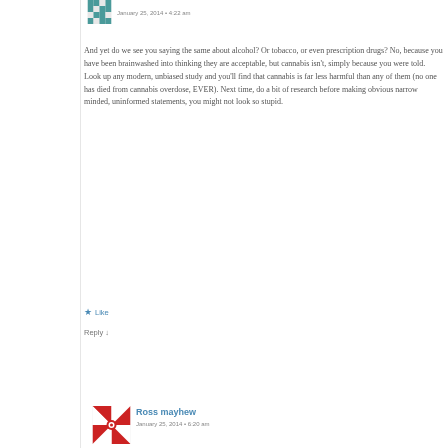January 25, 2014 • 4:22 am
And yet do we see you saying the same about alcohol? Or tobacco, or even prescription drugs? No, because you have been brainwashed into thinking they are acceptable, but cannabis isn't, simply because you were told. Look up any modern, unbiased study and you'll find that cannabis is far less harmful than any of them (no one has died from cannabis overdose, EVER). Next time, do a bit of research before making obvious narrow minded, uninformed statements, you might not look so stupid.
Like
Reply ↓
Ross mayhew
January 25, 2014 • 6:20 am
What about vapourizers, hash cakes etc, no smoke involved, no damage to your health, just the great